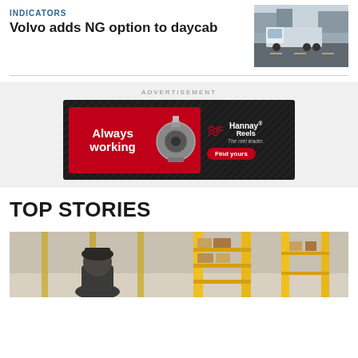INDICATORS
Volvo adds NG option to daycab
[Figure (photo): Photo of a semi-truck on a highway with urban background]
ADVERTISEMENT
[Figure (infographic): Hannay Reels advertisement banner – 'Always working' with hose reel image and 'Find yours' button]
TOP STORIES
[Figure (photo): Photo of a warehouse worker in a fulfillment center with yellow shelving]